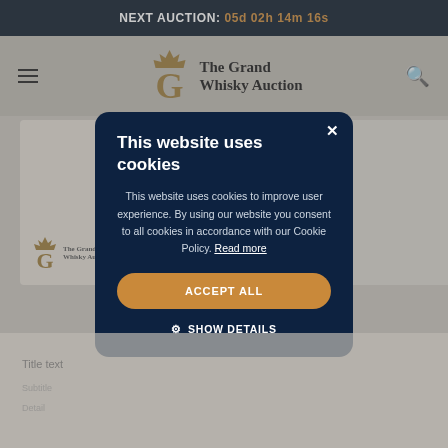NEXT AUCTION: 05d 02h 14m 16s
[Figure (logo): The Grand Whisky Auction logo with crown and stylized G]
This website uses cookies
This website uses cookies to improve user experience. By using our website you consent to all cookies in accordance with our Cookie Policy. Read more
ACCEPT ALL
SHOW DETAILS